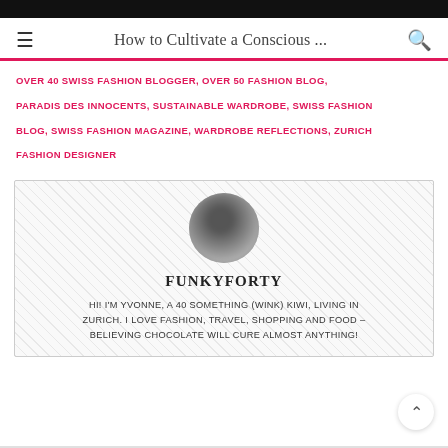How to Cultivate a Conscious ...
OVER 40 SWISS FASHION BLOGGER, OVER 50 FASHION BLOG, PARADIS DES INNOCENTS, SUSTAINABLE WARDROBE, SWISS FASHION BLOG, SWISS FASHION MAGAZINE, WARDROBE REFLECTIONS, ZURICH FASHION DESIGNER
[Figure (illustration): Sidebar widget card with hatched border background, circular blurred avatar photo, bold title FUNKYFORTY, and bio text]
FUNKYFORTY
HI! I'M YVONNE, A 40 SOMETHING (WINK) KIWI, LIVING IN ZURICH. I LOVE FASHION, TRAVEL, SHOPPING AND FOOD – BELIEVING CHOCOLATE WILL CURE ALMOST ANYTHING!